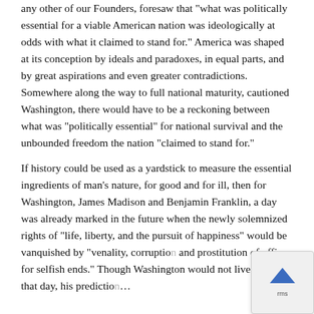any other of our Founders, foresaw that "what was politically essential for a viable American nation was ideologically at odds with what it claimed to stand for." America was shaped at its conception by ideals and paradoxes, in equal parts, and by great aspirations and even greater contradictions. Somewhere along the way to full national maturity, cautioned Washington, there would have to be a reckoning between what was "politically essential" for national survival and the unbounded freedom the nation "claimed to stand for."
If history could be used as a yardstick to measure the essential ingredients of man's nature, for good and for ill, then for Washington, James Madison and Benjamin Franklin, a day was already marked in the future when the newly solemnized rights of "life, liberty, and the pursuit of happiness" would be vanquished by "venality, corruptio... and prostitution of office for selfish ends." Though Washington would not live to see that day, his predictio...